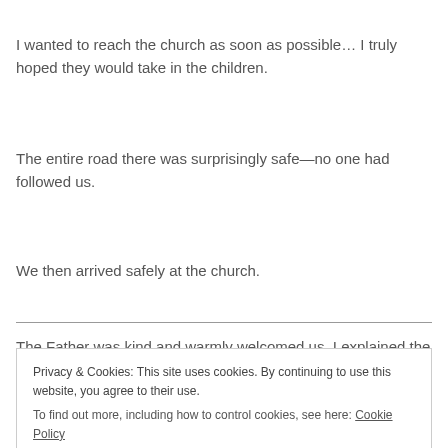I wanted to reach the church as soon as possible… I truly hoped they would take in the children.
The entire road there was surprisingly safe—no one had followed us.
We then arrived safely at the church.
The Father was kind and warmly welcomed us. I explained the
Privacy & Cookies: This site uses cookies. By continuing to use this website, you agree to their use.
To find out more, including how to control cookies, see here: Cookie Policy
Close and accept